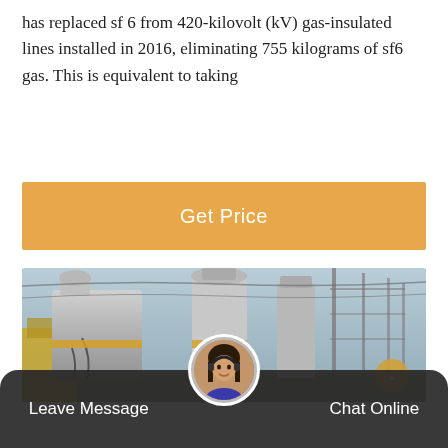has replaced sf 6 from 420-kilovolt (kV) gas-insulated lines installed in 2016, eliminating 755 kilograms of sf6 gas. This is equivalent to taking
[Figure (other): Orange button with white text reading 'Get Price']
[Figure (photo): Photograph of high-voltage electrical substation equipment, showing large grey transformers or gas-insulated switchgear with cables, towers with power lines, and yellow construction equipment visible in background. A logo watermark is visible in the lower right.]
[Figure (other): Dark rounded bottom bar with 'Leave Message' on the left, a circular avatar photo of a woman with headset in the center, and 'Chat Online' on the right.]